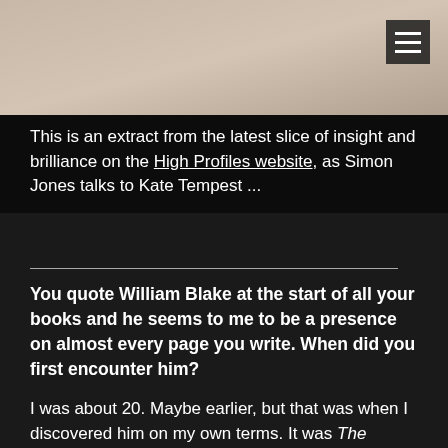[Figure (photo): Top portion of a person's face/head photo, appearing as a beige/skin-toned image at the top of the page]
This is an extract from the latest slice of insight and brilliance on the High Profiles website, as Simon Jones talks to Kate Tempest ...
You quote William Blake at the start of all your books and he seems to me to be a presence on almost every page you write. When did you first encounter him?
I was about 20. Maybe earlier, but that was when I discovered him on my own terms. It was The Marriage of Heaven and Hell and it just absolutely, like, rang me like a bell. It just shook me. To read things like 'The road of excess leads to the palace of wisdom' is very useful for a 20-year-old, you know? 'Sooner murder an infant in its cradle than nurse unacted desires.' At that time, that was exactly the validation I needed to be throwing myself in the directions I was throwing myself in.